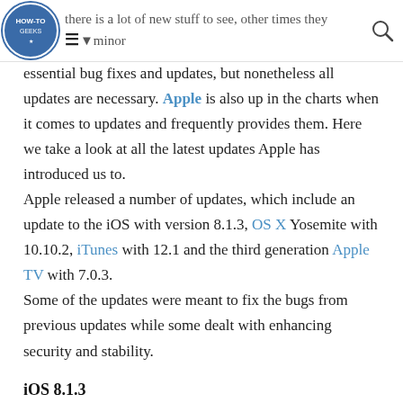there is a lot of new stuff to see, other times they are minor
essential bug fixes and updates, but nonetheless all updates are necessary. Apple is also up in the charts when it comes to updates and frequently provides them. Here we take a look at all the latest updates Apple has introduced us to.
Apple released a number of updates, which include an update to the iOS with version 8.1.3, OS X Yosemite with 10.10.2, iTunes with 12.1 and the third generation Apple TV with 7.0.3.
Some of the updates were meant to fix the bugs from previous updates while some dealt with enhancing security and stability.
iOS 8.1.3
Everyone had something to say about the iOS 8 update but the latest by